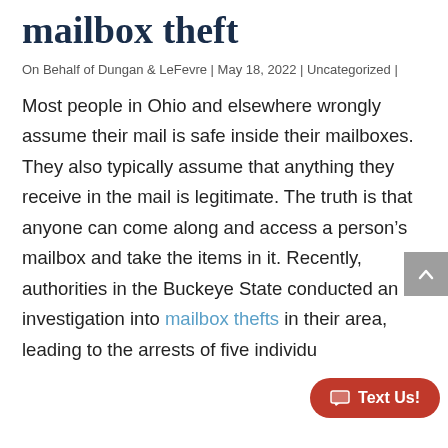mailbox theft
On Behalf of Dungan & LeFevre | May 18, 2022 | Uncategorized |
Most people in Ohio and elsewhere wrongly assume their mail is safe inside their mailboxes. They also typically assume that anything they receive in the mail is legitimate. The truth is that anyone can come along and access a person’s mailbox and take the items in it. Recently, authorities in the Buckeye State conducted an investigation into mailbox thefts in their area, leading to the arrests of five individu…